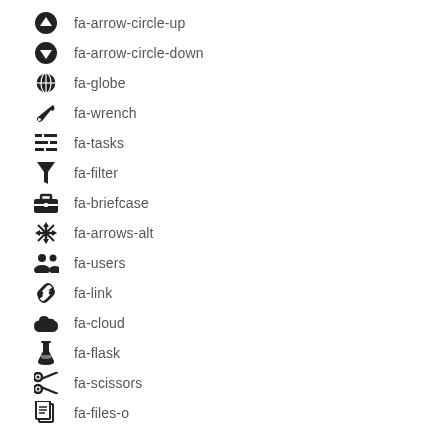fa-arrow-circle-up
fa-arrow-circle-down
fa-globe
fa-wrench
fa-tasks
fa-filter
fa-briefcase
fa-arrows-alt
fa-users
fa-link
fa-cloud
fa-flask
fa-scissors
fa-files-o